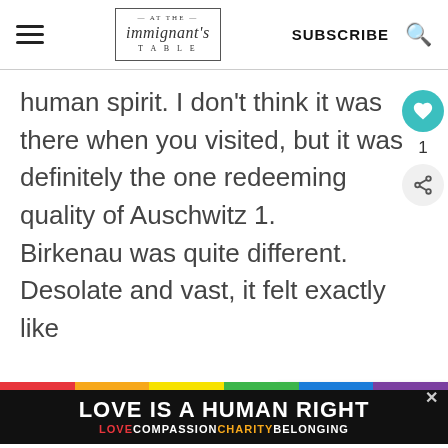AT THE — immigrant's — TABLE | SUBSCRIBE
human spirit. I don't think it was there when you visited, but it was definitely the one redeeming quality of Auschwitz 1. Birkenau was quite different. Desolate and vast, it felt exactly like
[Figure (other): What's Next widget showing The Jewish Food Projec...]
[Figure (other): Ad banner: LOVE IS A HUMAN RIGHT — LOVE COMPASSION CHARITY BELONGING with rainbow colors]